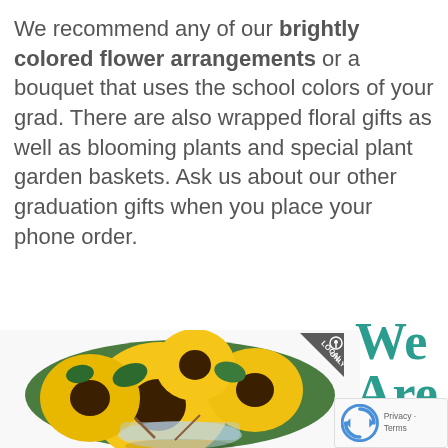We recommend any of our brightly colored flower arrangements or a bouquet that uses the school colors of your grad. There are also wrapped floral gifts as well as blooming plants and special plant garden baskets. Ask us about our other graduation gifts when you place your phone order.
[Figure (photo): A bouquet of bright yellow sunflowers with green foliage arranged in a glass bowl vase, with a 'LOCAL ONLY' badge in the top right corner of the image.]
We Are Open an
[Figure (logo): Google reCAPTCHA badge with spinning arrows logo and 'Privacy - Terms' text.]